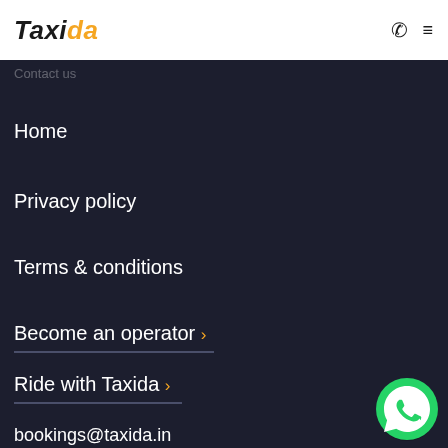[Figure (logo): Taxida logo — bold italic text, 'Taxi' in black, 'da' in orange/yellow]
phone icon | menu icon
Contact us
Home
Privacy policy
Terms & conditions
Become an operator ›
Ride with Taxida ›
bookings@taxida.in
[Figure (logo): WhatsApp green circle logo button in bottom-right corner]